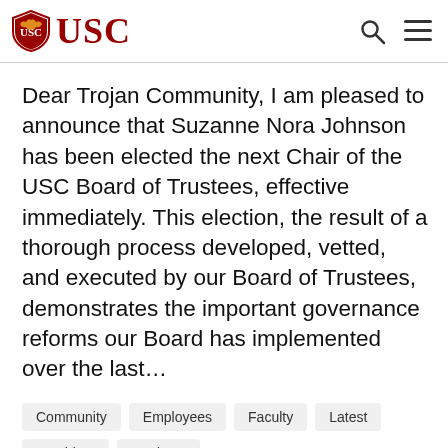USC
Dear Trojan Community, I am pleased to announce that Suzanne Nora Johnson has been elected the next Chair of the USC Board of Trustees, effective immediately. This election, the result of a thorough process developed, vetted, and executed by our Board of Trustees, demonstrates the important governance reforms our Board has implemented over the last…
Community
Employees
Faculty
Latest
President
Students